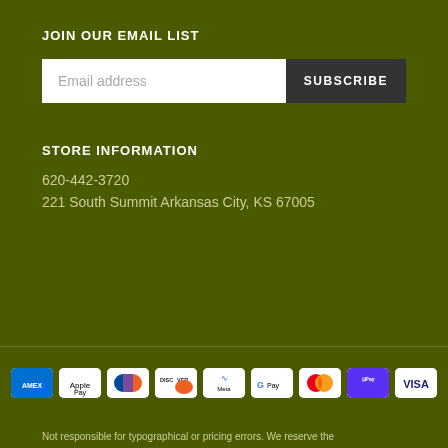JOIN OUR EMAIL LIST
Email address | SUBSCRIBE
STORE INFORMATION
620-442-3720
221 South Summit Arkansas City, KS 67005
[Figure (logo): Payment method icons: American Express, Apple Pay, Diners Club, Discover, Meta Pay, Google Pay, Mastercard, ShopPay, Visa]
Not responsible for typographical or pricing errors. We reserve the